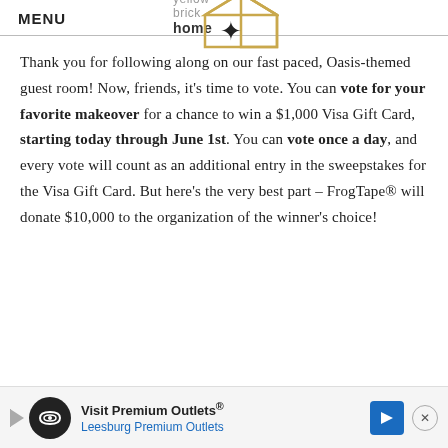MENU | yellow brick home (logo)
Thank you for following along on our fast paced, Oasis-themed guest room! Now, friends, it's time to vote. You can vote for your favorite makeover for a chance to win a $1,000 Visa Gift Card, starting today through June 1st. You can vote once a day, and every vote will count as an additional entry in the sweepstakes for the Visa Gift Card. But here's the very best part – FrogTape® will donate $10,000 to the organization of the winner's choice!
[Figure (other): Advertisement banner: Visit Premium Outlets® Leesburg Premium Outlets with logo and arrow icon]